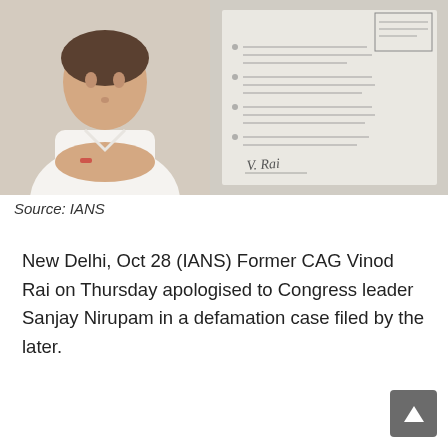[Figure (photo): A man in a white shirt sitting with hands clasped, alongside a document with text lines, a stamp, and a signature.]
Source: IANS
New Delhi, Oct 28 (IANS) Former CAG Vinod Rai on Thursday apologised to Congress leader Sanjay Nirupam in a defamation case filed by the later.